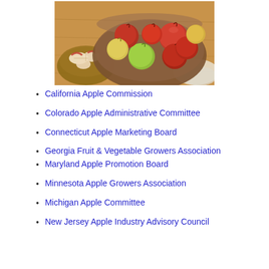[Figure (photo): A bowl of mixed red and green apples on a wooden surface, with sliced apples in a smaller bowl to the left.]
California Apple Commission
Colorado Apple Administrative Committee
Connecticut Apple Marketing Board
Georgia Fruit & Vegetable Growers Association
Maryland Apple Promotion Board
Minnesota Apple Growers Association
Michigan Apple Committee
New Jersey Apple Industry Advisory Council